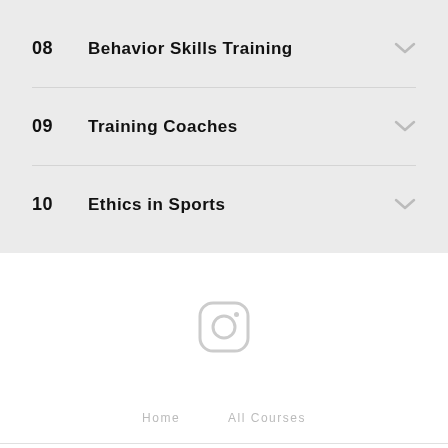08  Behavior Skills Training
09  Training Coaches
10  Ethics in Sports
[Figure (logo): Instagram logo icon, rounded square outline with camera lens circle]
Home    All Courses